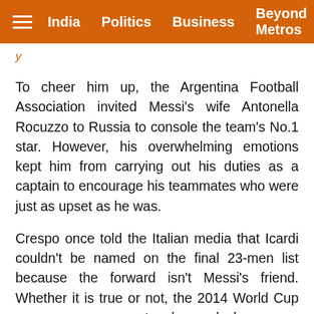India  Politics  Business  Beyond Metros
y
To cheer him up, the Argentina Football Association invited Messi's wife Antonella Rocuzzo to Russia to console the team's No.1 star. However, his overwhelming emotions kept him from carrying out his duties as a captain to encourage his teammates who were just as upset as he was.
Crespo once told the Italian media that Icardi couldn't be named on the final 23-men list because the forward isn't Messi's friend. Whether it is true or not, the 2014 World Cup runners-up seem to have locker room problems.
When the team fell behind 1-0 on Thursday, few midfielders ran back to deal with Croatian counter-attacks. Instead, players were witnessed by the huge audience complaining